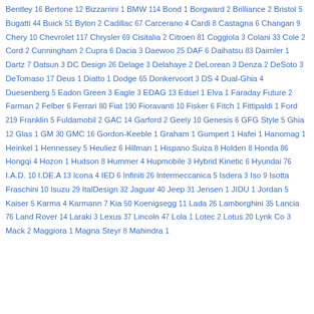Bentley 16 Bertone 12 Bizzarrini 1 BMW 114 Bond 1 Borgward 2 Brilliance 2 Bristol 5 Bugatti 44 Buick 51 Byton 2 Cadillac 67 Carcerano 4 Cardi 8 Castagna 6 Changan 9 Chery 10 Chevrolet 117 Chrysler 69 Cisitalia 2 Citroen 81 Coggiola 3 Colani 33 Cole 2 Cord 2 Cunningham 2 Cupra 6 Dacia 3 Daewoo 25 DAF 6 Daihatsu 83 Daimler 1 Dartz 7 Datsun 3 DC Design 26 Delage 3 Delahaye 2 DeLorean 3 Denza 2 DeSoto 3 DeTomaso 17 Deus 1 Diatto 1 Dodge 65 Donkervoort 3 DS 4 Dual-Ghia 4 Duesenberg 5 Eadon Green 3 Eagle 3 EDAG 13 Edsel 1 Elva 1 Faraday Future 2 Farman 2 Felber 6 Ferrari 80 Fiat 190 Fioravanti 10 Fisker 6 Fitch 1 Fittipaldi 1 Ford 219 Franklin 5 Fuldamobil 2 GAC 14 Garford 2 Geely 10 Genesis 6 GFG Style 5 Ghia 12 Glas 1 GM 30 GMC 16 Gordon-Keeble 1 Graham 1 Gumpert 1 Hafei 1 Hanomag 1 Heinkel 1 Hennessey 5 Heuliez 6 Hillman 1 Hispano Suiza 8 Holden 8 Honda 86 Hongqi 4 Hozon 1 Hudson 8 Hummer 4 Hupmobile 3 Hybrid Kinetic 6 Hyundai 76 I.A.D. 10 I.DE.A 13 Icona 4 IED 6 Infiniti 26 Intermeccanica 5 Isdera 3 Iso 9 Isotta Fraschini 10 Isuzu 29 ItalDesign 32 Jaguar 40 Jeep 31 Jensen 1 JIDU 1 Jordan 5 Kaiser 5 Karma 4 Karmann 7 Kia 50 Koenigsegg 11 Lada 26 Lamborghini 35 Lancia 76 Land Rover 14 Laraki 3 Lexus 37 Lincoln 47 Lola 1 Lotec 2 Lotus 20 Lynk Co 3 Mack 2 Maggiora 1 Magna Steyr 8 Mahindra 1